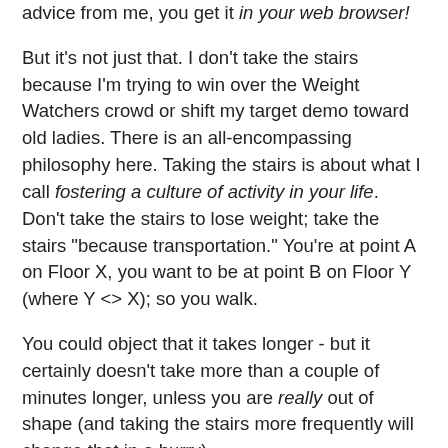advice from me, you get it in your web browser!
But it's not just that. I don't take the stairs because I'm trying to win over the Weight Watchers crowd or shift my target demo toward old ladies. There is an all-encompassing philosophy here. Taking the stairs is about what I call fostering a culture of activity in your life. Don't take the stairs to lose weight; take the stairs "because transportation." You're at point A on Floor X, you want to be at point B on Floor Y (where Y <> X); so you walk.
You could object that it takes longer - but it certainly doesn't take more than a couple of minutes longer, unless you are really out of shape (and taking the stairs more frequently will change that in a hurry).
You could object that it's less pleasant than taking the elevator, but I assert that after a couple of weeks of dedicating yourself to stairs-only travel, that will no longer be the case. This should be especially true once you reiterate to yourself that you're doing it purely for reasons travel, not health. If something doesn't feel like exercise, then it's tough